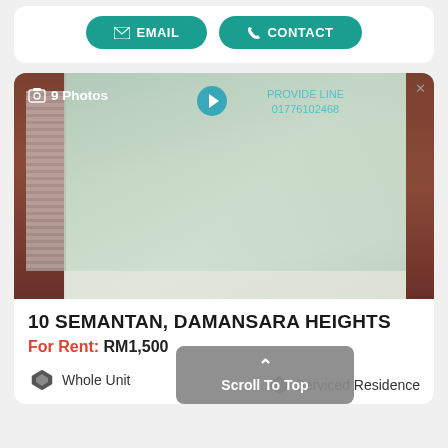[Figure (screenshot): Top card with EMAIL and CONTACT buttons in teal rounded style]
[Figure (photo): Bathroom interior with frosted glass shower panel, showing '9 Photos' badge and watermark overlay]
10 SEMANTAN, DAMANSARA HEIGHTS
For Rent: RM1,500
Whole Unit
Scroll To Top
Serviced Residence